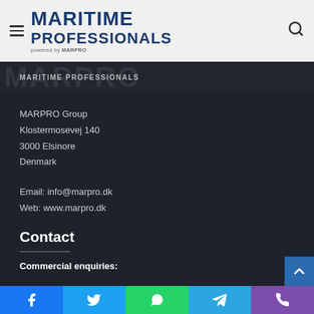[Figure (logo): Maritime Professionals logo powered by MARPRO, with hamburger menu icon on left and search icon on right, on a light grey header bar]
MARITIME PROFESSIONALS
MARPRO Group
Klostermosevej 140
3000 Elsinore
Denmark
Email: info@marpro.dk
Web: www.marpro.dk
Contact
Commercial enquiries:
[Figure (infographic): Social media share bar with Facebook, Twitter, WhatsApp, Telegram, and Phone icons]